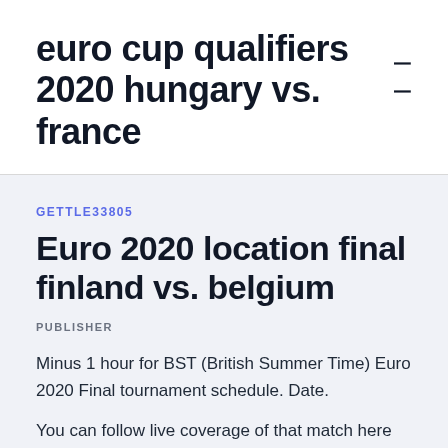euro cup qualifiers 2020 hungary vs. france
GETTLE33805
Euro 2020 location final finland vs. belgium
PUBLISHER
Minus 1 hour for BST (British Summer Time) Euro 2020 Final tournament schedule. Date.
You can follow live coverage of that match here Finland